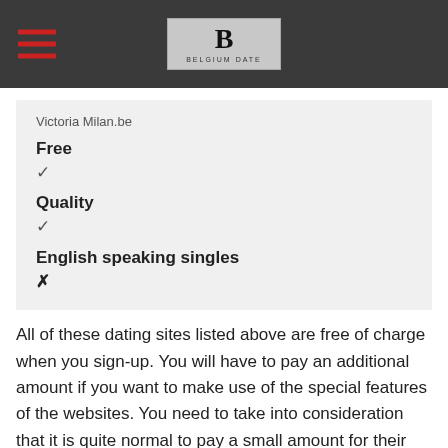BELGIUM DATE (logo)
Victoria Milan.be
Free
✓
Quality
✓
English speaking singles
✗
All of these dating sites listed above are free of charge when you sign-up. You will have to pay an additional amount if you want to make use of the special features of the websites. You need to take into consideration that it is quite normal to pay a small amount for their service because you want to be